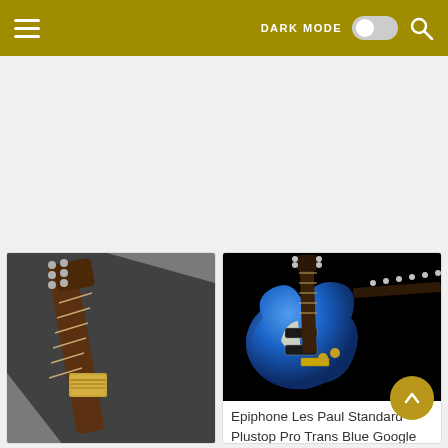DARK MODE [toggle] [search]
[Figure (photo): Guitar in a black case, showing headstock and neck with fretboard, Epiphone guitar in a gig bag]
[Figure (photo): Epiphone Les Paul Standard Plustop Pro Trans Blue electric guitar on black background]
Epiphone Les Paul Standard Plustop Pro Trans Blue Google Search Epiphone